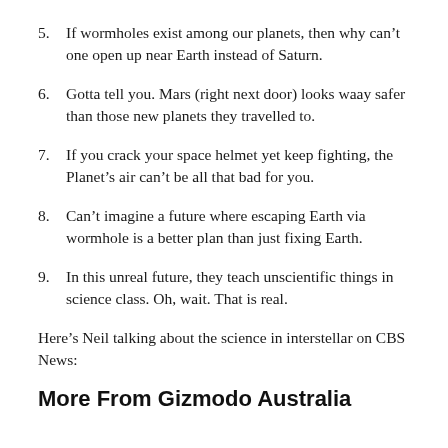5. If wormholes exist among our planets, then why can't one open up near Earth instead of Saturn.
6. Gotta tell you. Mars (right next door) looks waay safer than those new planets they travelled to.
7. If you crack your space helmet yet keep fighting, the Planet's air can't be all that bad for you.
8. Can't imagine a future where escaping Earth via wormhole is a better plan than just fixing Earth.
9. In this unreal future, they teach unscientific things in science class. Oh, wait. That is real.
Here’s Neil talking about the science in interstellar on CBS News:
More From Gizmodo Australia